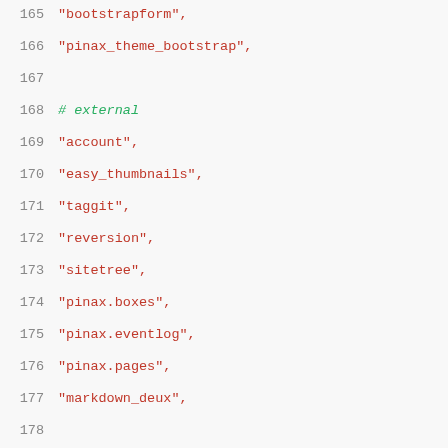165     "bootstrapform",
166     "pinax_theme_bootstrap",
167
168     # external
169     "account",
170     "easy_thumbnails",
171     "taggit",
172     "reversion",
173     "sitetree",
174     "pinax.boxes",
175     "pinax.eventlog",
176     "pinax.pages",
177     "markdown_deux",
178
179     # symposion
180     "symposion",
181     "symposion.conference",
182     "symposion.proposals",
183     "symposion.reviews",
184     "symposion.schedule",
185     "symposion.speakers",
186     "symposion.sponsorship",
187     "symposion.teams",
188